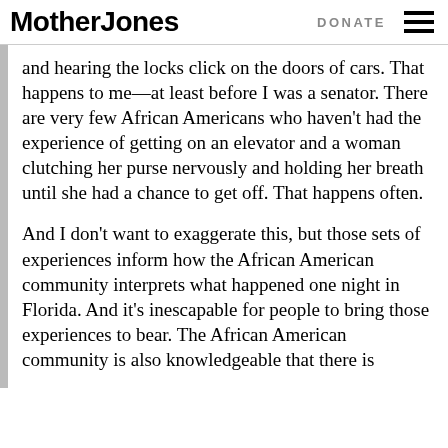Mother Jones | DONATE
and hearing the locks click on the doors of cars. That happens to me—at least before I was a senator. There are very few African Americans who haven't had the experience of getting on an elevator and a woman clutching her purse nervously and holding her breath until she had a chance to get off. That happens often.
And I don't want to exaggerate this, but those sets of experiences inform how the African American community interprets what happened one night in Florida. And it's inescapable for people to bring those experiences to bear. The African American community is also knowledgeable that there is